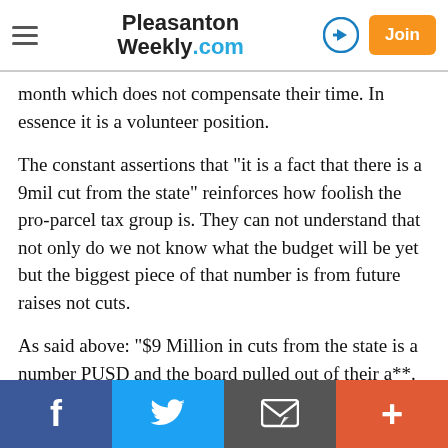Pleasanton Weekly.com
month which does not compensate their time. In essence it is a volunteer position.
The constant assertions that "it is a fact that there is a 9mil cut from the state" reinforces how foolish the pro-parcel tax group is. They can not understand that not only do we not know what the budget will be yet but the biggest piece of that number is from future raises not cuts.
As said above: "$9 Million in cuts from the state is a number PUSD and the board pulled out of their a**. The final numbers are not yet available and they have no clue what the final budget could look like until after the
f | Twitter | email | +